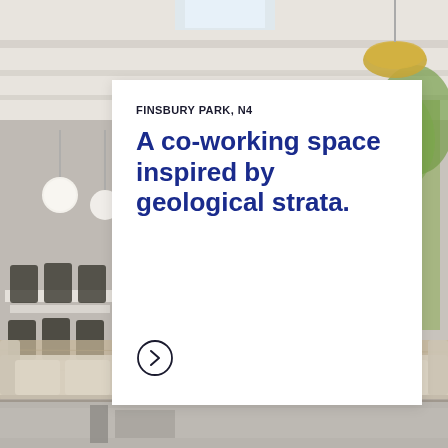[Figure (photo): Interior of a modern co-working space showing black office chairs around white tables, pendant globe lights, exposed white ceiling beams, potted plants, and a lounge area with cream sofas and a white coffee table in the foreground. A second partial photo strip appears at the bottom.]
FINSBURY PARK, N4
A co-working space inspired by geological strata.